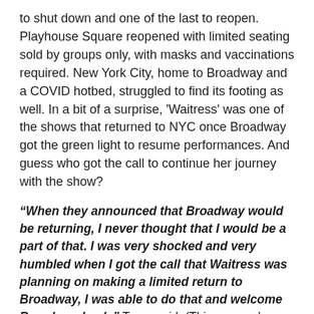to shut down and one of the last to reopen. Playhouse Square reopened with limited seating sold by groups only, with masks and vaccinations required. New York City, home to Broadway and a COVID hotbed, struggled to find its footing as well. In a bit of a surprise, 'Waitress' was one of the shows that returned to NYC once Broadway got the green light to resume performances. And guess who got the call to continue her journey with the show?
“When they announced that Broadway would be returning, I never thought that I would be a part of that. I was very shocked and very humbled when I got the call that Waitress was planning on making a limited return to Broadway, I was able to do that and welcome Broadway back,” Torns said. (This was a phone conversation, but I could ‘hear’ her smile). “We were the first musical to open at that time. It was emotional. It was very emotional. It was full of people who love each other who were shocked to be there and grateful to be there.”